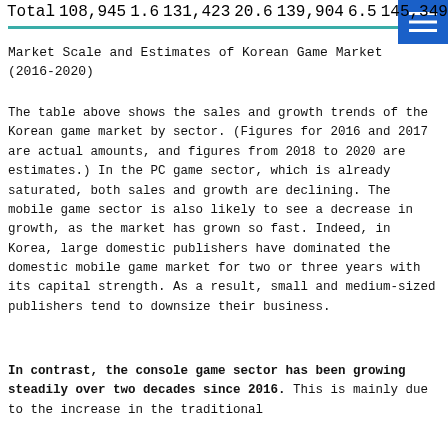| Total | 108,945 | 1.6 | 131,423 | 20.6 | 139,904 | 6.5 | 145,349 | 3.9 | 148,909 | 2.4 |
Market Scale and Estimates of Korean Game Market (2016-2020)
The table above shows the sales and growth trends of the Korean game market by sector. (Figures for 2016 and 2017 are actual amounts, and figures from 2018 to 2020 are estimates.) In the PC game sector, which is already saturated, both sales and growth are declining. The mobile game sector is also likely to see a decrease in growth, as the market has grown so fast. Indeed, in Korea, large domestic publishers have dominated the domestic mobile game market for two or three years with its capital strength. As a result, small and medium-sized publishers tend to downsize their business.
In contrast, the console game sector has been growing steadily over two decades since 2016. This is mainly due to the increase in the traditional